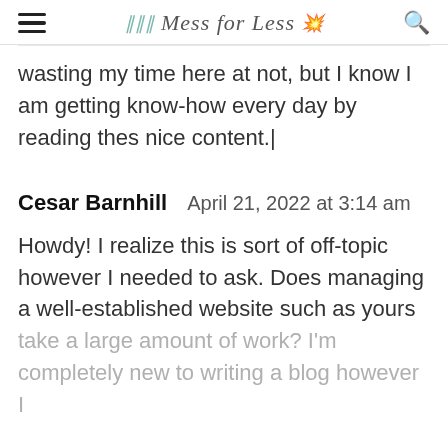Mess for Less
wasting my time here at not, but I know I am getting know-how every day by reading thes nice content.|
Cesar Barnhill   April 21, 2022 at 3:14 am
Howdy! I realize this is sort of off-topic however I needed to ask. Does managing a well-established website such as yours take a large amount of work? I'm completely new to writing a blog however I